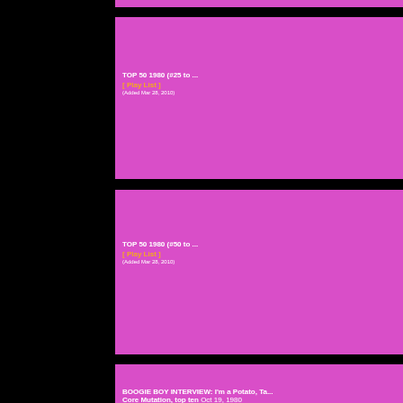[Figure (screenshot): Black background with pink/magenta content cards partially visible]
TOP 50 1980 (#25 to ...
[ Play List ]
(Added Mar 28, 2010)
TOP 50 1980 (#50 to ...
[ Play List ]
(Added Mar 28, 2010)
BOOGIE BOY INTERVIEW: I'm a Potato, Ta... Core Mutation, top ten Oct 19, 1980